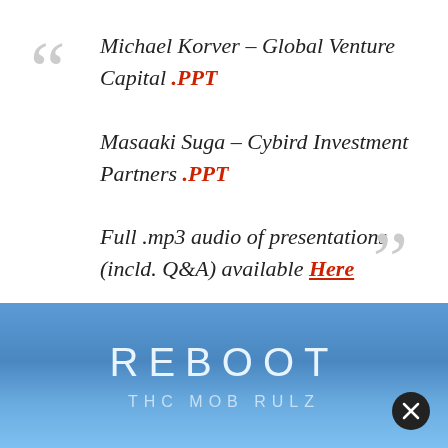Michael Korver – Global Venture Capital .PPT Masaaki Suga – Cybird Investment Partners .PPT Full .mp3 audio of presentations (incld. Q&A) available Here
Mobile Monday Tokyo at the
[Figure (illustration): Blue banner with city skyline silhouette, text REBOOT and THC MOB RULZ]